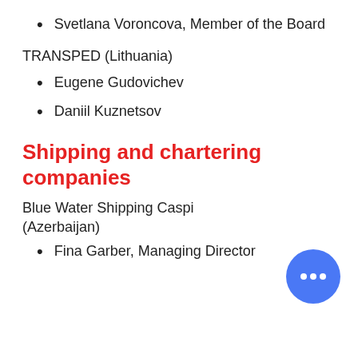Svetlana Voroncova, Member of the Board
TRANSPED (Lithuania)
Eugene Gudovichev
Daniil Kuznetsov
Shipping and chartering companies
Blue Water Shipping Caspi (Azerbaijan)
Fina Garber, Managing Director